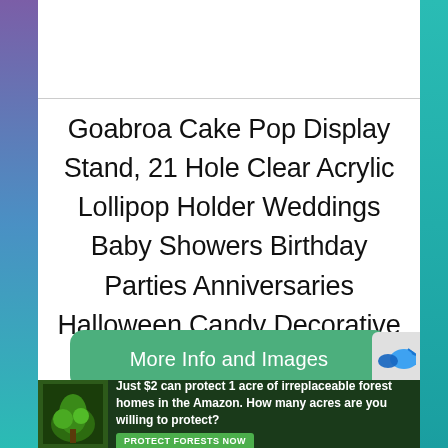Goabroa Cake Pop Display Stand, 21 Hole Clear Acrylic Lollipop Holder Weddings Baby Showers Birthday Parties Anniversaries Halloween Candy Decorative (21 Hole)
More Info and Images
[Figure (infographic): Green advertisement banner at bottom: forest/Amazon protection ad. Text: 'Just $2 can protect 1 acre of irreplaceable forest homes in the Amazon. How many acres are you willing to protect?' with a green 'PROTECT FORESTS NOW' button.]